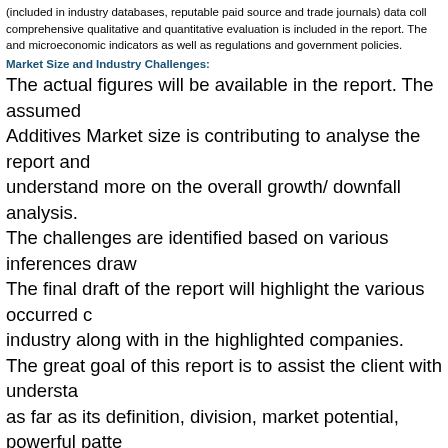(included in industry databases, reputable paid source and trade journals) data coll comprehensive qualitative and quantitative evaluation is included in the report. The and microeconomic indicators as well as regulations and government policies.
Market Size and Industry Challenges:
The actual figures will be available in the report. The assumed Additives Market size is contributing to analyse the report and understand more on the overall growth/ downfall analysis. The challenges are identified based on various inferences draw The final draft of the report will highlight the various occurred c industry along with in the highlighted companies. The great goal of this report is to assist the client with understa as far as its definition, division, market potential, powerful patte difficulties that the market is looking with 10 significant locales nations.The information and the data in regards to the Aviation market are taken from solid sources like sites, yearly reports o diaries, and others and were checked and approved by the bu Current realities and information are addressed in the report u diagrams, pie graphs, and other pictorial portrayals. This upgra portrayal and furthermore helps in understanding the realities m
Points Covered in The Report:
The focuses that are examined inside the report are the signifi that are associated with the market, for example, market playe